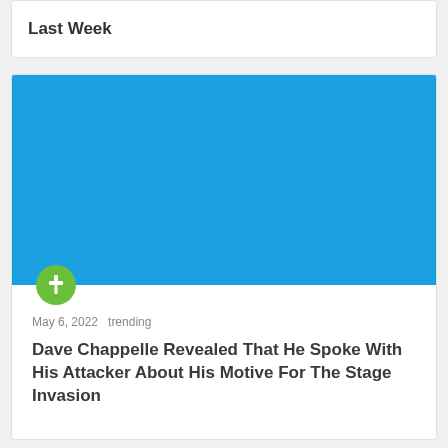Last Week
[Figure (illustration): Blue rectangular placeholder image with a green circular pin/bookmark badge overlapping the bottom-left corner]
May 6, 2022   trending
Dave Chappelle Revealed That He Spoke With His Attacker About His Motive For The Stage Invasion